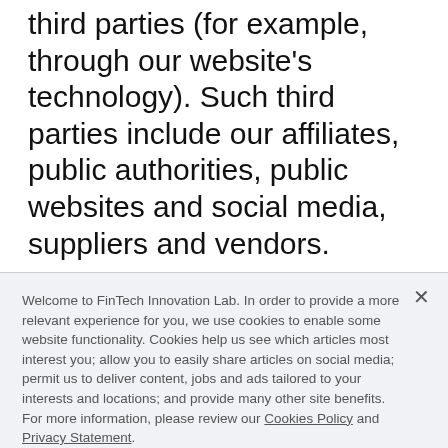third parties (for example, through our website's technology). Such third parties include our affiliates, public authorities, public websites and social media, suppliers and vendors.
Welcome to FinTech Innovation Lab. In order to provide a more relevant experience for you, we use cookies to enable some website functionality. Cookies help us see which articles most interest you; allow you to easily share articles on social media; permit us to deliver content, jobs and ads tailored to your interests and locations; and provide many other site benefits. For more information, please review our Cookies Policy and Privacy Statement.